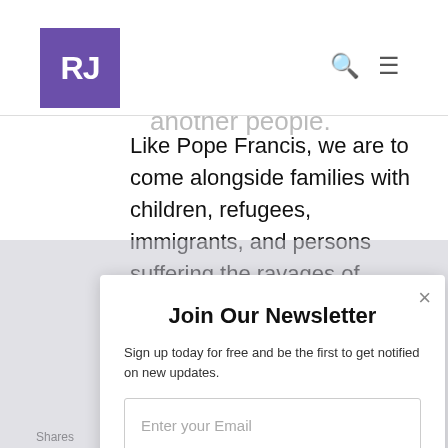RJ
complicity in State-sponsored war against another people.
Like Pope Francis, we are to come alongside families with children, refugees, immigrants, and persons suffering the ravages of modern warfare.
Thank you Scott for shining a light on our bias to settle things with swords and spears
[Figure (screenshot): POWERED BY SUMO banner overlay]
Join Our Newsletter
Sign up today for free and be the first to get notified on new updates.
Enter your Email
Subscribe Now
Shares